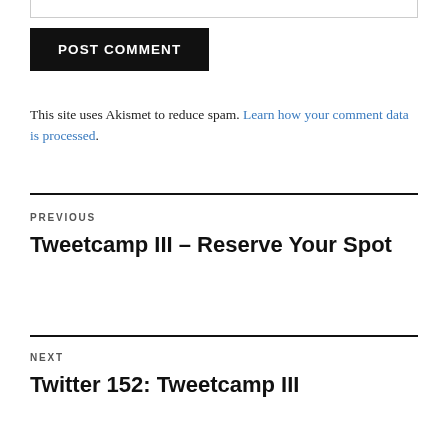POST COMMENT
This site uses Akismet to reduce spam. Learn how your comment data is processed.
PREVIOUS
Tweetcamp III – Reserve Your Spot
NEXT
Twitter 152: Tweetcamp III